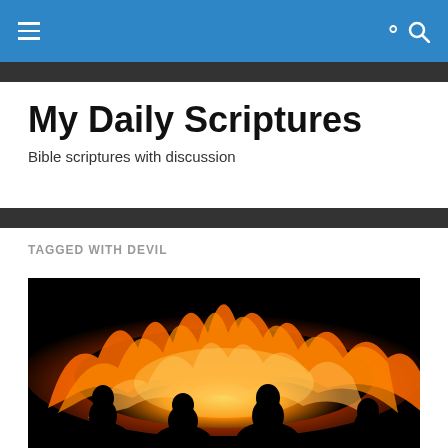My Daily Scriptures — navigation bar
My Daily Scriptures
Bible scriptures with discussion
TAGGED WITH DEVIL
[Figure (photo): Dark photo of silhouettes of people watching a large bonfire with bright orange and yellow flames against a black background]